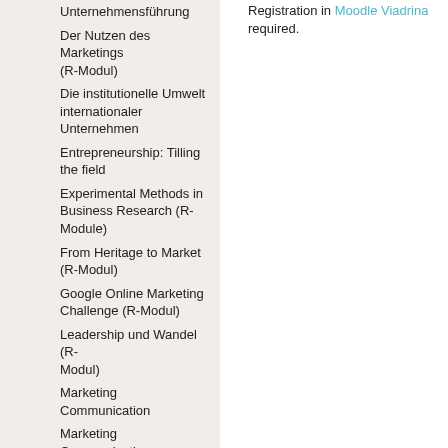Unternehmensführung
Der Nutzen des Marketings (R-Modul)
Die institutionelle Umwelt internationaler Unternehmen
Entrepreneurship: Tilling the field
Experimental Methods in Business Research (R-Module)
From Heritage to Market (R-Modul)
Google Online Marketing Challenge (R-Modul)
Leadership und Wandel (R-Modul)
Marketing Communication
Marketing Communication (R-Module)
Marktbeziehungen internationaler Unternehmen
Marktforschung
Mobile Business - App-Konzeption und -Design (R-Modul)
Narrating the entrepreneurial self: images, stories and identity
Registration in Moodle Viadrina required.